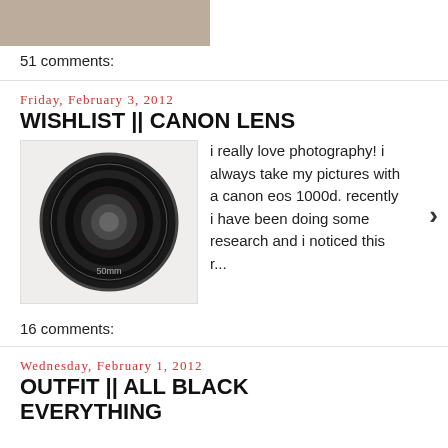[Figure (photo): Partial view of a person/outfit image at top of page (cropped)]
51 comments:
Friday, February 3, 2012
WISHLIST || CANON LENS
[Figure (photo): Canon lens (50mm) product image on white background]
i really love photography! i always take my pictures with a canon eos 1000d. recently i have been doing some research and i noticed this r...
16 comments:
Wednesday, February 1, 2012
OUTFIT || ALL BLACK EVERYTHING
[Figure (photo): Person wearing all black outfit, standing pose]
hello february, this is gonna be a good month, im visiting düsseldorf and spain! sorry for the crappy outfit picture, i just wanted to sho...
16 comments: